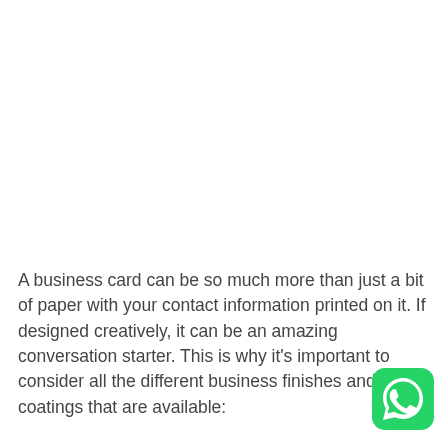A business card can be so much more than just a bit of paper with your contact information printed on it. If designed creatively, it can be an amazing conversation starter. This is why it's important to consider all the different business finishes and coatings that are available:
[Figure (logo): WhatsApp logo — green rounded square with white phone/chat bubble icon]